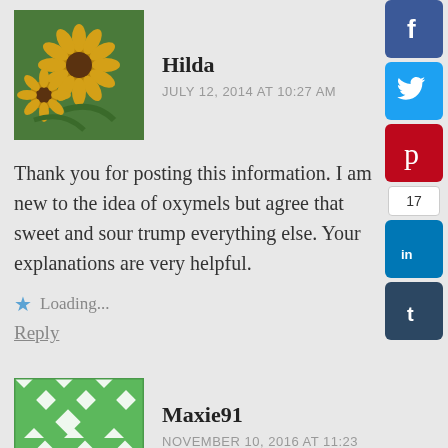[Figure (photo): Avatar photo of sunflowers in a garden]
Hilda
JULY 12, 2014 AT 10:27 AM
Thank you for posting this information. I am new to the idea of oxymels but agree that sweet and sour trump everything else. Your explanations are very helpful.
Loading...
Reply
[Figure (logo): Facebook social share button]
[Figure (logo): Twitter social share button]
[Figure (logo): Pinterest social share button]
17
[Figure (logo): LinkedIn social share button]
[Figure (logo): Tumblr social share button]
[Figure (illustration): Green quilt pattern avatar for Maxie91]
Maxie91
NOVEMBER 10, 2016 AT 11:23 PM
I see your blog is similar to my weblog. Do you allow